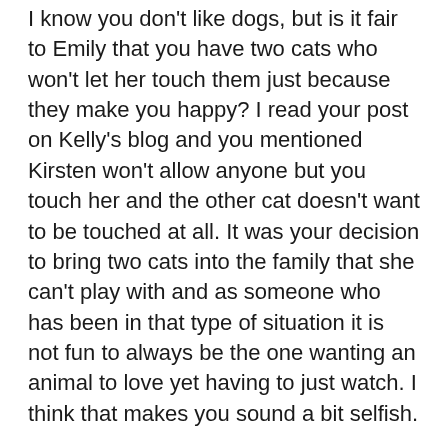I know you don't like dogs, but is it fair to Emily that you have two cats who won't let her touch them just because they make you happy? I read your post on Kelly's blog and you mentioned Kirsten won't allow anyone but you touch her and the other cat doesn't want to be touched at all. It was your decision to bring two cats into the family that she can't play with and as someone who has been in that type of situation it is not fun to always be the one wanting an animal to love yet having to just watch. I think that makes you sound a bit selfish.
We had a dog and 4 cats living in our house at one point and years later had one of those cats (she lived to be 21) in the house with 4 much younger dogs. Yes, we are insane people. With our one dog, he was clearly alpha and as long as the cats accepted that, he put up with them. None of them liked each other, but they realized nobody was going anywhere.